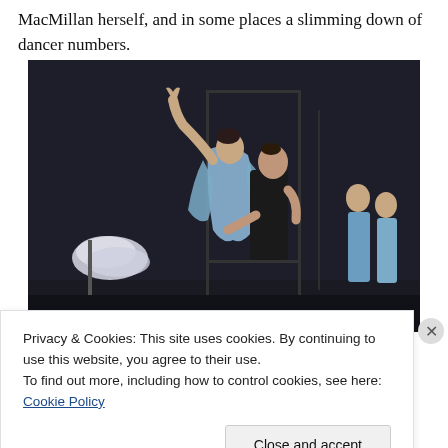MacMillan herself, and in some places a slimming down of dancer numbers.
[Figure (photo): Two ballet dancers on a dark stage. A woman in a blue flowing costume extends one arm upward while a man in a black sleeveless top holds her. In the background, other dancers in blue costumes watch. White tutus hang on a rack to the left.]
Privacy & Cookies: This site uses cookies. By continuing to use this website, you agree to their use.
To find out more, including how to control cookies, see here: Cookie Policy
Close and accept